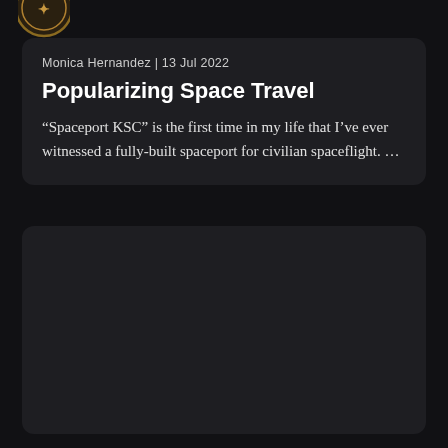[Figure (logo): Circular logo/badge icon in gold/brown tones, partially visible at top left corner]
Monica Hernandez | 13 Jul 2022
Popularizing Space Travel
“Spaceport KSC” is the first time in my life that I’ve ever witnessed a fully-built spaceport for civilian spaceflight. …
[Figure (other): Dark card/panel area below the article card, mostly empty dark background]